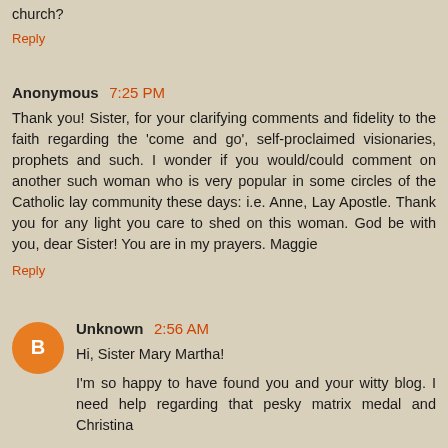church?
Reply
Anonymous 7:25 PM
Thank you! Sister, for your clarifying comments and fidelity to the faith regarding the 'come and go', self-proclaimed visionaries, prophets and such. I wonder if you would/could comment on another such woman who is very popular in some circles of the Catholic lay community these days: i.e. Anne, Lay Apostle. Thank you for any light you care to shed on this woman. God be with you, dear Sister! You are in my prayers. Maggie
Reply
Unknown 2:56 AM
Hi, Sister Mary Martha!
I'm so happy to have found you and your witty blog. I need help regarding that pesky matrix medal and Christina